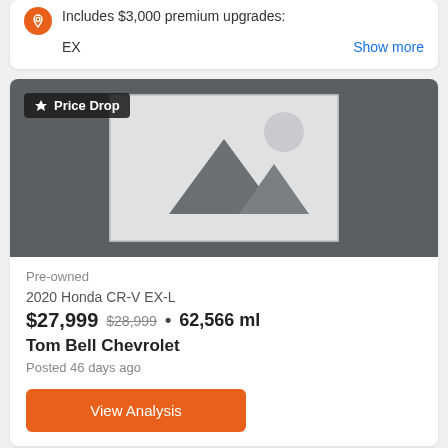Includes $3,000 premium upgrades:
EX
Show more
[Figure (illustration): Car listing image placeholder with mountain/landscape placeholder graphic. Price Drop badge overlay in top-left.]
Pre-owned
2020 Honda CR-V EX-L
$27,999  $28,999  •  62,566 ml
Tom Bell Chevrolet
Posted 46 days ago
View Analysis